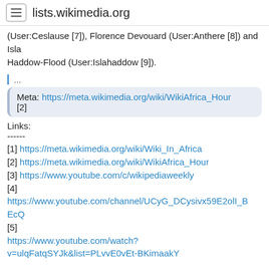lists.wikimedia.org
(User:Ceslause [7]), Florence Devouard (User:Anthere [8]) and Isla Haddow-Flood (User:Islahaddow [9]).
...
Meta: https://meta.wikimedia.org/wiki/WikiAfrica_Hour [2]
Links:
------
[1] https://meta.wikimedia.org/wiki/Wiki_In_Africa
[2] https://meta.wikimedia.org/wiki/WikiAfrica_Hour
[3] https://www.youtube.com/c/wikipediaweekly
[4] https://www.youtube.com/channel/UCyG_DCysivx59E2olI_BEcQ
[5] https://www.youtube.com/watch?v=ulqFatqSYJk&amp;list=PLvvE0vEt-BKimaakY